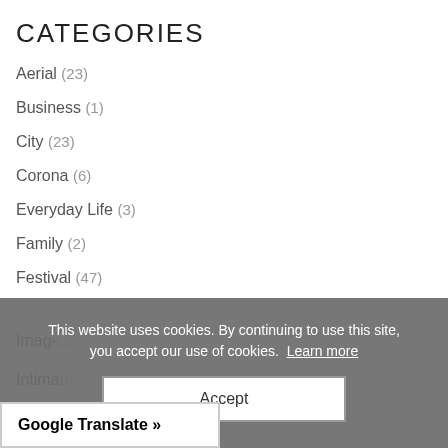CATEGORIES
Aerial (23)
Business (1)
City (23)
Corona (6)
Everyday Life (3)
Family (2)
Festival (47)
This website uses cookies. By continuing to use this site, you accept our use of cookies. Learn more
Accept
Google Translate »